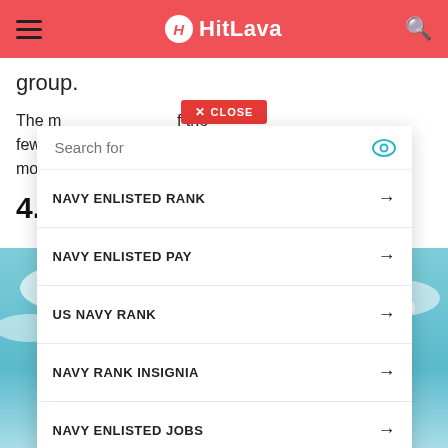HitLava
group.
The m... f the few n... n most
4. A
NAVY ENLISTED RANK →
NAVY ENLISTED PAY →
US NAVY RANK →
NAVY RANK INSIGNIA →
NAVY ENLISTED JOBS →
Yahoo! Search | Sponsored
[Figure (illustration): Anime character illustration, upper torso, wearing white and blue uniform with yellow tie, cloudy blue sky background]